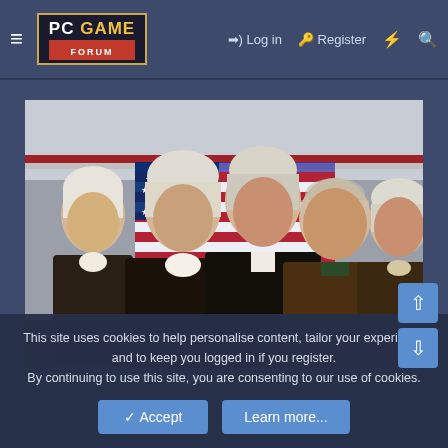≡  PC GAME FORUM   →) Log in   🔑 Register   ⚡   🔍
[Figure (illustration): Illustrated portrait of five American Founding Fathers posed together in front of an American flag background: John Adams, George Washington, Thomas Jefferson, Benjamin Franklin, and James Madison.]
This site uses cookies to help personalise content, tailor your experience and to keep you logged in if you register.
By continuing to use this site, you are consenting to our use of cookies.
✓ Accept   Learn more...